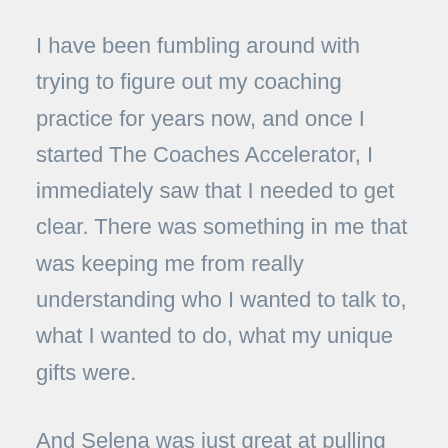I have been fumbling around with trying to figure out my coaching practice for years now, and once I started The Coaches Accelerator, I immediately saw that I needed to get clear. There was something in me that was keeping me from really understanding who I wanted to talk to, what I wanted to do, what my unique gifts were.
And Selena was just great at pulling that out. The materials are awesome. The worksheets and everything that you fill